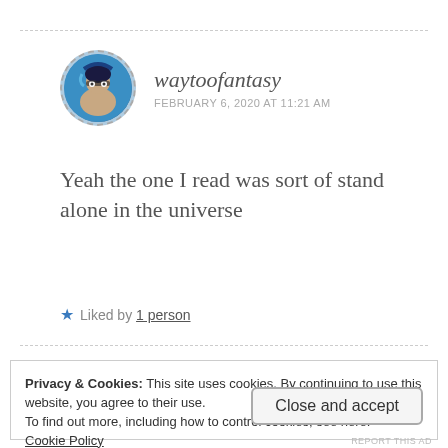[Figure (photo): Circular avatar photo of user waytoofantasy, showing a person with glasses and blue hair/clothing, within a dashed circular border]
waytoofantasy
FEBRUARY 6, 2020 AT 11:21 AM
Yeah the one I read was sort of stand alone in the universe
★ Liked by 1 person
Privacy & Cookies: This site uses cookies. By continuing to use this website, you agree to their use.
To find out more, including how to control cookies, see here:
Cookie Policy
Close and accept